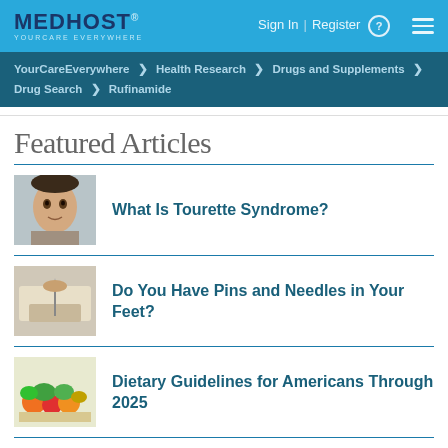MEDHOST YOURCARE EVERYWHERE | Sign In | Register
YourCareEverywhere > Health Research > Drugs and Supplements > Drug Search > Rufinamide
Featured Articles
What Is Tourette Syndrome?
Do You Have Pins and Needles in Your Feet?
Dietary Guidelines for Americans Through 2025
Encourage Your Child to Take Notes by Hand